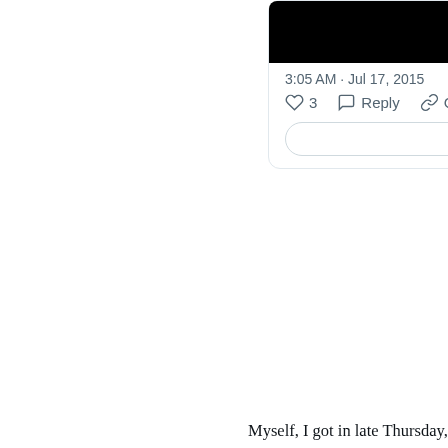[Figure (screenshot): Top portion of a tweet card showing a dark image, timestamp '3:05 AM · Jul 17, 2015', like/reply/copy actions, and 'Explore w...' button]
Myself, I got in late Thursday, time enou- restaurant across the park from the Hilto-
[Figure (screenshot): Second tweet card from user 'williambeutler' at 'Alameda Central De La Ciudad De M...' showing an outdoor nighttime photo of a latticed roof structure with tropical plants below]